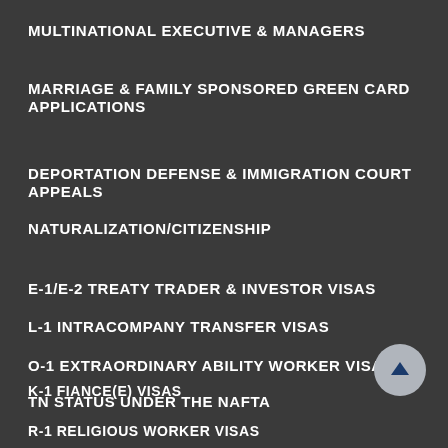MULTINATIONAL EXECUTIVE & MANAGERS
MARRIAGE & FAMILY SPONSORED GREEN CARD APPLICATIONS
DEPORTATION DEFENSE & IMMIGRATION COURT APPEALS
NATURALIZATION/CITIZENSHIP
E-1/E-2 TREATY TRADER & INVESTOR VISAS
L-1 INTRACOMPANY TRANSFER VISAS
O-1 EXTRAORDINARY ABILITY WORKER VISAS
TN STATUS UNDER THE NAFTA
K-1 FIANCE(E) VISAS
R-1 RELIGIOUS WORKER VISAS